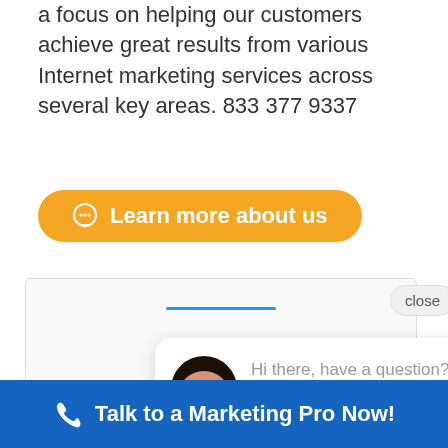a focus on helping our customers achieve great results from various Internet marketing services across several key areas. 833 377 9337
[Figure (screenshot): Orange rounded button with chat bubble icon and text 'Learn more about us']
[Figure (screenshot): Live chat widget popup showing a woman's avatar photo and message: 'Hi there, have a question? We are online and here to help!' with a close button and blue accent bar]
We offer professional web
Talk to a Marketing Pro Now!